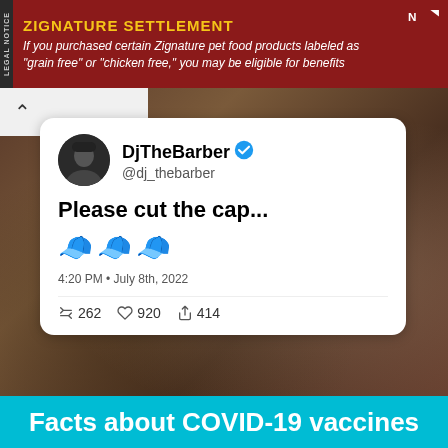[Figure (screenshot): Advertisement banner for Zignature Settlement legal notice. Dark red background with yellow title text 'ZIGNATURE SETTLEMENT' and white italic body text about pet food class action. 'LEGAL NOTICE' label on left side.]
[Figure (photo): Screenshot of a Twitter/X post by DjTheBarber (@dj_thebarber) with verified badge. Tweet text reads 'Please cut the cap...' followed by three blue cap emojis. Posted at 4:20 PM, July 8th, 2022. Stats: 262 retweets, 920 likes, 414 shares. Background shows a photo of a barber cutting a man's hair in a barbershop.]
Facts about COVID-19 vaccines